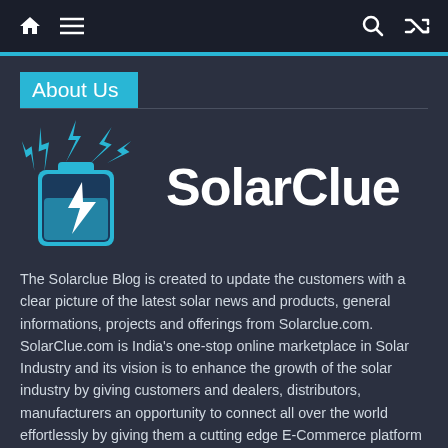SolarClue website navigation bar with home, menu, search, and shuffle icons
About Us
[Figure (logo): SolarClue logo: a blue battery icon with lightning bolt and cyan lightning bolts radiating from top, next to bold white text 'SolarClue' on dark background]
The Solarclue Blog is created to update the customers with a clear picture of the latest solar news and products, general informations, projects and offerings from Solarclue.com. SolarClue.com is India's one-stop online marketplace in Solar Industry and its vision is to enhance the growth of the solar industry by giving customers and dealers, distributors, manufacturers an opportunity to connect all over the world effortlessly by giving them a cutting edge E-Commerce platform